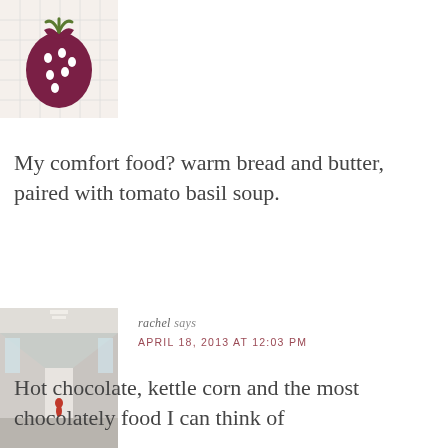[Figure (illustration): Stylized strawberry graphic in dark purple/maroon on a light grid background]
My comfort food? warm bread and butter, paired with tomato basil soup.
[Figure (photo): Photo of a long hallway/corridor with a small figure in a red dress at the far end]
rachel says
APRIL 18, 2013 AT 12:03 PM
Hot chocolate, kettle corn and the most chocolately food I can think of
[Figure (photo): Partially visible photo of a woman with dark hair, smiling, with bookshelves in background]
ANNE @ MODERN MRS DARCY says
APRIL 24, 2013 AT 7:07 AM